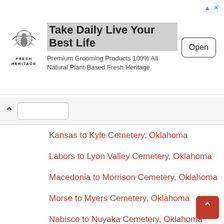[Figure (infographic): Advertisement banner for Fresh Heritage grooming products with logo, headline 'Take Daily Live Your Best Life', description text, and Open button]
Kansas to Kyle Cemetery, Oklahoma
Labors to Lyon Valley Cemetery, Oklahoma
Macedonia to Morrison Cemetery, Oklahoma
Morse to Myers Cemetery, Oklahoma
Nabisco to Nuyaka Cemetery, Oklahoma
Oak Grove to Owens Prairie Cemetery, Oklahoma
Page to Platter Cemetery, Oklahoma
Pleasant Grove to Purdy Cemetery, Oklahoma
Ouartz to Robberson Cemetery, Oklahoma